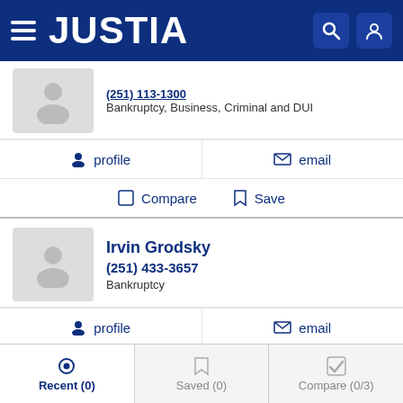JUSTIA
(251) 113-1300
Bankruptcy, Business, Criminal and DUI
profile   email
Compare   Save
Irvin Grodsky
(251) 433-3657
Bankruptcy
profile   email
Compare   Save
Recent (0)   Saved (0)   Compare (0/3)